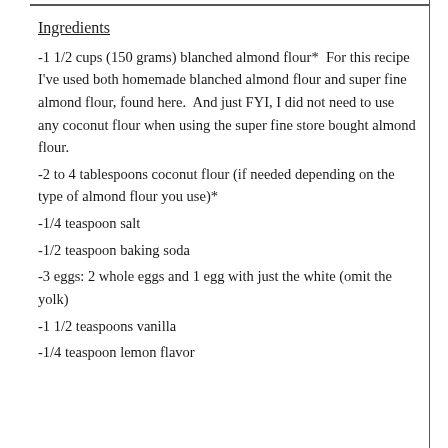Ingredients
-1 1/2 cups (150 grams) blanched almond flour*  For this recipe I’ve used both homemade blanched almond flour and super fine almond flour, found here.  And just FYI, I did not need to use any coconut flour when using the super fine store bought almond flour.
-2 to 4 tablespoons coconut flour (if needed depending on the type of almond flour you use)*
-1/4 teaspoon salt
-1/2 teaspoon baking soda
-3 eggs: 2 whole eggs and 1 egg with just the white (omit the yolk)
-1 1/2 teaspoons vanilla
-1/4 teaspoon lemon flavor